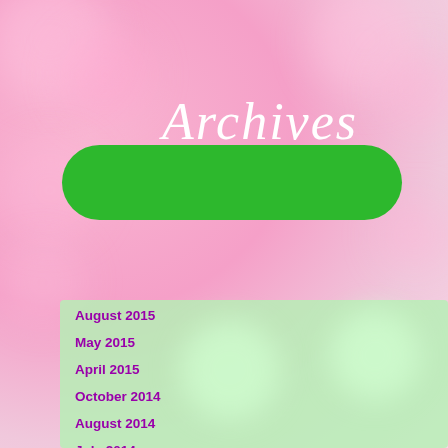[Figure (illustration): Pink bokeh background with soft blurred circles, green rounded-rectangle banner with handwritten-style 'Archives' text in white, and a light green panel below containing a list of archive months.]
August 2015
May 2015
April 2015
October 2014
August 2014
July 2014
January 2014
November 2013
October 2013
September 2013
August 2013
July 2013
June 2013
May 2013
April 2013
March 2013